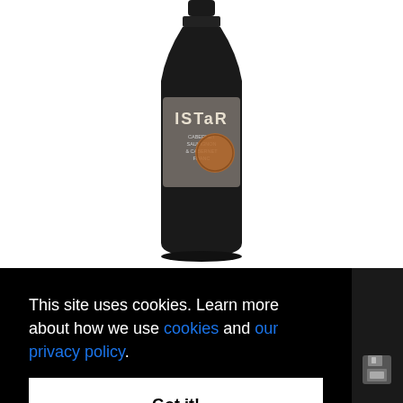[Figure (photo): Wine bottle with ISTAR label, dark bottle with gray/brown label featuring the ISTAR brand name and a orange circular emblem]
For good wine are needed not only quality grapes, but also people for whom winemaking is a passion. Bononia Estate (www.bononiaestate.com) is one of the places where [cookie overlay covers rest] ...place ...grows ...ational ...bernet
[Figure (screenshot): Cookie consent overlay on black background reading 'This site uses cookies. Learn more about how we use cookies and our privacy policy.' with a 'Got it!' button]